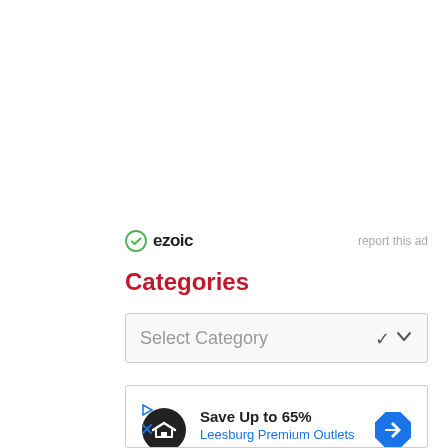[Figure (logo): Ezoic logo with green circle checkmark icon and bold 'ezoic' text, with 'report this ad' link to the right]
Categories
[Figure (screenshot): Select Category dropdown box with chevron]
[Figure (screenshot): Advertisement box: Save Up to 65% at Leesburg Premium Outlets, with black circle logo and blue diamond arrow icon]